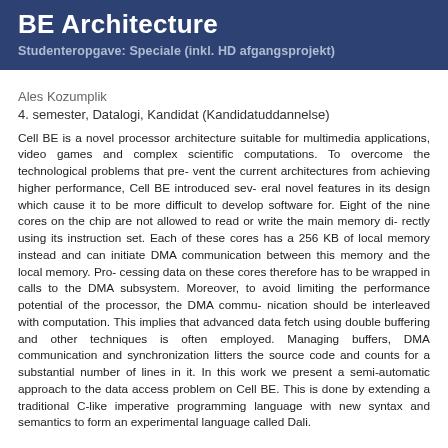BE Architecture
Studenteropgave: Speciale (inkl. HD afgangsprojekt)
Ales Kozumplik
4. semester, Datalogi, Kandidat (Kandidatuddannelse)
Cell BE is a novel processor architecture suitable for multimedia applications, video games and complex scientific computations. To overcome the technological problems that pre- vent the current architectures from achieving higher performance, Cell BE introduced sev- eral novel features in its design which cause it to be more difficult to develop software for. Eight of the nine cores on the chip are not allowed to read or write the main memory di- rectly using its instruction set. Each of these cores has a 256 KB of local memory instead and can initiate DMA communication between this memory and the local memory. Pro- cessing data on these cores therefore has to be wrapped in calls to the DMA subsystem. Moreover, to avoid limiting the performance potential of the processor, the DMA commu- nication should be interleaved with computation. This implies that advanced data fetch using double buffering and other techniques is often employed. Managing buffers, DMA communication and synchronization litters the source code and counts for a substantial number of lines in it. In this work we present a semi-automatic approach to the data access problem on Cell BE. This is done by extending a traditional C-like imperative programming language with new syntax and semantics to form an experimental language called Dali.